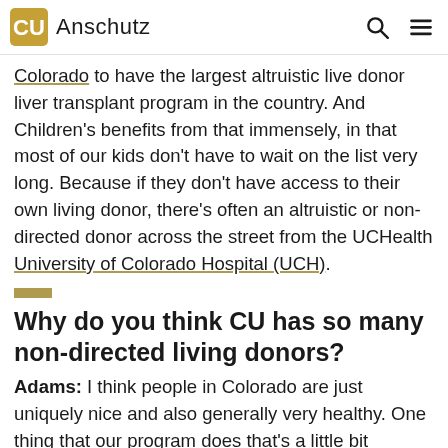Anschutz
Colorado to have the largest altruistic live donor liver transplant program in the country. And Children's benefits from that immensely, in that most of our kids don't have to wait on the list very long. Because if they don't have access to their own living donor, there's often an altruistic or non-directed donor across the street from the UCHealth University of Colorado Hospital (UCH).
Why do you think CU has so many non-directed living donors?
Adams: I think people in Colorado are just uniquely nice and also generally very healthy. One thing that our program does that's a little bit different is we allow altruistic donors who have already donated a